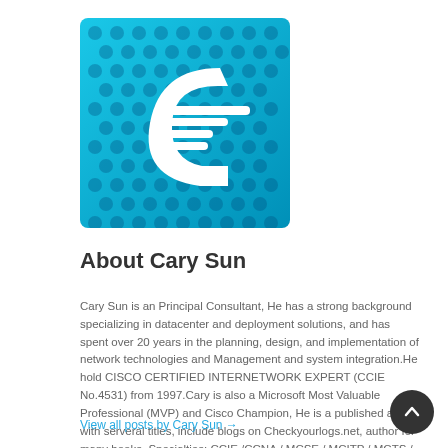[Figure (logo): Cisco-style logo: teal/blue background with hexagonal dot pattern and a white stylized 'C' with speed lines]
About Cary Sun
Cary Sun is an Principal Consultant, He has a strong background specializing in datacenter and deployment solutions, and has spent over 20 years in the planning, design, and implementation of network technologies and Management and system integration.He hold CISCO CERTIFIED INTERNETWORK EXPERT (CCIE No.4531) from 1997.Cary is also a Microsoft Most Valuable Professional (MVP) and Cisco Champion, He is a published author with serveral titles, include blogs on Checkyourlogs.net, author for many books. Specialties: CCIE /CCNA / MCSE / MCITP / MCTS / MCSA / Solution Expert / CCA Blog: http://www.carysun.com http://www.checkyourlogs.net Twitter:@SifuSun
View all posts by Cary Sun →